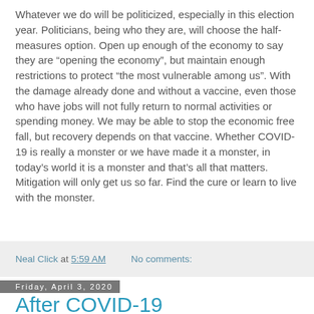Whatever we do will be politicized, especially in this election year. Politicians, being who they are, will choose the half-measures option. Open up enough of the economy to say they are “opening the economy”, but maintain enough restrictions to protect “the most vulnerable among us”. With the damage already done and without a vaccine, even those who have jobs will not fully return to normal activities or spending money. We may be able to stop the economic free fall, but recovery depends on that vaccine. Whether COVID-19 is really a monster or we have made it a monster, in today’s world it is a monster and that’s all that matters. Mitigation will only get us so far. Find the cure or learn to live with the monster.
Neal Click at 5:59 AM   No comments:
Friday, April 3, 2020
After COVID-19